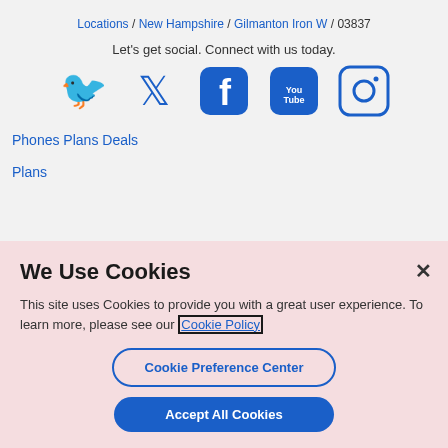Locations / New Hampshire / Gilmanton Iron W / 03837
Let's get social. Connect with us today.
[Figure (illustration): Social media icons: Twitter, Facebook, YouTube, Instagram]
Phones Plans Deals
Plans
We Use Cookies
This site uses Cookies to provide you with a great user experience. To learn more, please see our Cookie Policy
Cookie Preference Center
Accept All Cookies